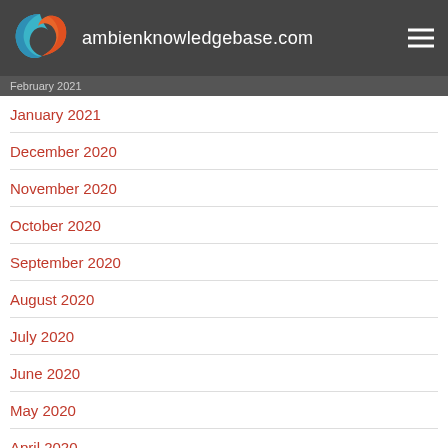ambienknowledgebase.com
February 2021
January 2021
December 2020
November 2020
October 2020
September 2020
August 2020
July 2020
June 2020
May 2020
April 2020
March 2020